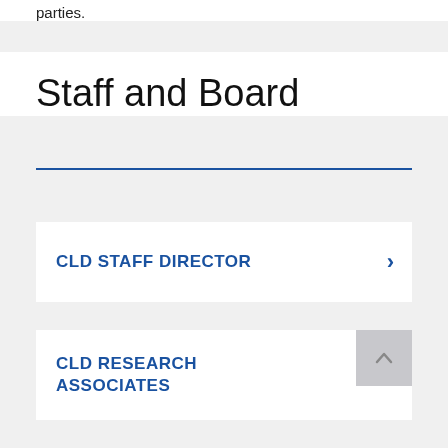parties.
Staff and Board
CLD STAFF DIRECTOR
CLD RESEARCH ASSOCIATES